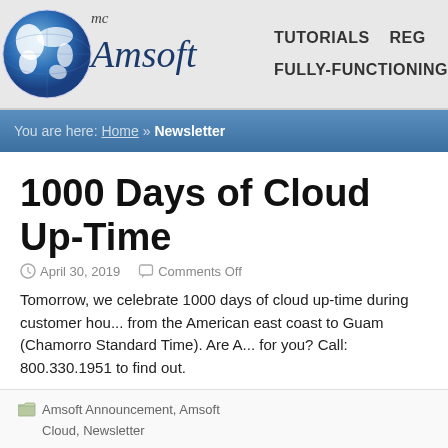[Figure (logo): Amsoft company logo with globe and stylized text]
TUTORIALS   REG
FULLY-FUNCTIONING
You are here: Home » Newsletter
1000 Days of Cloud Up-Time
April 30, 2019   Comments Off
Tomorrow, we celebrate 1000 days of cloud up-time during customer hours from the American east coast to Guam (Chamorro Standard Time). Are A... for you? Call: 800.330.1951 to find out.
Amsoft Announcement, Amsoft Cloud, Newsletter
December 23, 2014